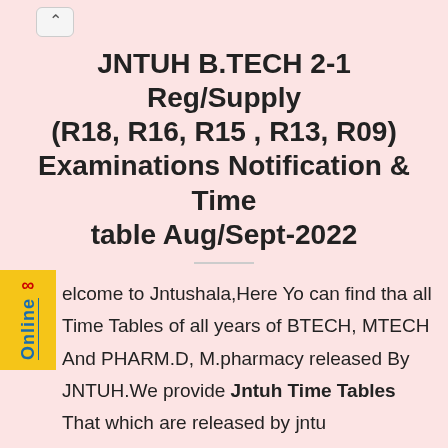^
JNTUH B.TECH 2-1 Reg/Supply (R18, R16, R15 , R13, R09) Examinations Notification & Time table Aug/Sept-2022
Welcome to Jntushala,Here Yo can find tha all Time Tables of all years of BTECH, MTECH And PHARM.D, M.pharmacy released By JNTUH.We provide Jntuh Time Tables That which are released by jntu hyderabad.This Website is the fastly updated Website with all the Notifications & Time Tables.Below we have provided the